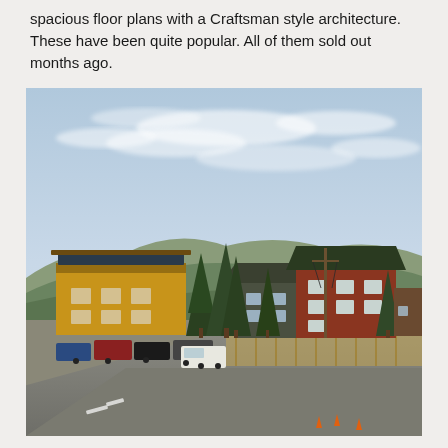spacious floor plans with a Craftsman style architecture.  These have been quite popular.  All of them sold out months ago.
[Figure (photo): Outdoor photograph showing Craftsman-style lodge/residential buildings under construction along a street, surrounded by tall pine trees and forested hills in the background, with a partly cloudy sky. Vehicles are parked along the street and construction fencing is visible.]